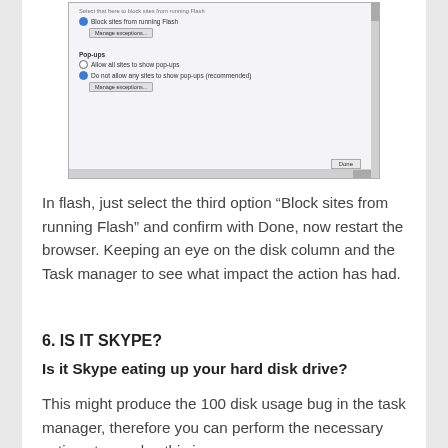[Figure (screenshot): Screenshot of a browser settings dialog showing Flash and Pop-ups sections. Flash section has 'Block sites from running Flash' selected with a 'Manage exceptions...' button. Pop-ups section shows two radio options: 'Allow all sites to show pop-ups' and 'Do not allow any sites to show pop-ups (recommended)' with a 'Manage exceptions...' button. A 'Done' button is at the bottom right.]
In flash, just select the third option “Block sites from running Flash” and confirm with Done, now restart the browser. Keeping an eye on the disk column and the Task manager to see what impact the action has had.
6. IS IT SKYPE?
Is it Skype eating up your hard disk drive?
This might produce the 100 disk usage bug in the task manager, therefore you can perform the necessary actions to resolve this issue as